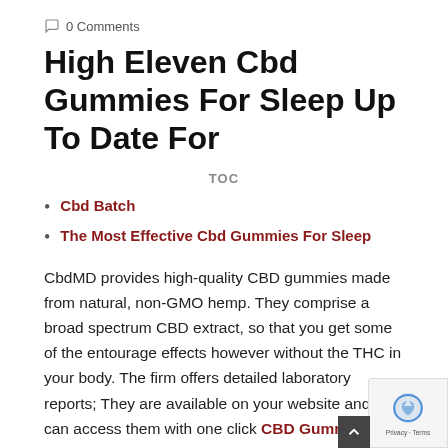0 Comments
High Eleven Cbd Gummies For Sleep Up To Date For
TOC
Cbd Batch
The Most Effective Cbd Gummies For Sleep
CbdMD provides high-quality CBD gummies made from natural, non-GMO hemp. They comprise a broad spectrum CBD extract, so that you get some of the entourage effects however without the THC in your body. The firm offers detailed laboratory reports; They are available on your website and you can access them with one click CBD Gummies for Sleep. If you are thinking about other hemp-derived CBD merchandise to improve sleep quality, think about trying Exhale Full Spectrum CBD Oil. Available in